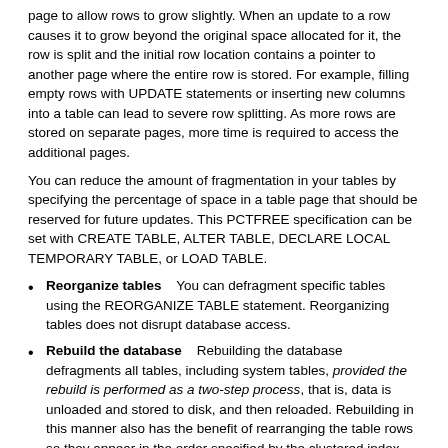page to allow rows to grow slightly. When an update to a row causes it to grow beyond the original space allocated for it, the row is split and the initial row location contains a pointer to another page where the entire row is stored. For example, filling empty rows with UPDATE statements or inserting new columns into a table can lead to severe row splitting. As more rows are stored on separate pages, more time is required to access the additional pages.
You can reduce the amount of fragmentation in your tables by specifying the percentage of space in a table page that should be reserved for future updates. This PCTFREE specification can be set with CREATE TABLE, ALTER TABLE, DECLARE LOCAL TEMPORARY TABLE, or LOAD TABLE.
Reorganize tables    You can defragment specific tables using the REORGANIZE TABLE statement. Reorganizing tables does not disrupt database access.
Rebuild the database    Rebuilding the database defragments all tables, including system tables, provided the rebuild is performed as a two-step process, that is, data is unloaded and stored to disk, and then reloaded. Rebuilding in this manner also has the benefit of rearranging the table rows so they appear in the order specified by the clustered index and primary keys. One-step rebuilds (for example, using the -ar, -an, or -ac options), do not reduce table fragmentation.
See also